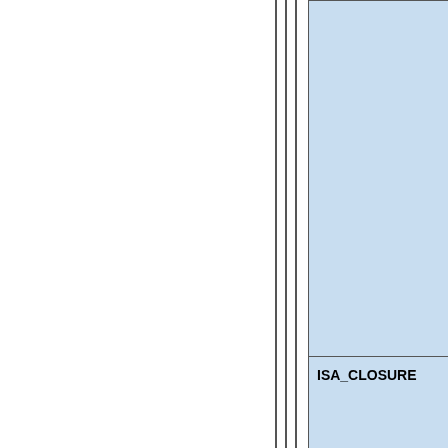| Keyword | Description |
| --- | --- |
|  | (prefer... or sync... was ma... Mgrep... from a... specify... charact... the giv... the ma... express... Attenti... values ... numbe... not cha... e.g., ½... byte ch... thus w... for 2 c... |
| ISA_CLOSURE | represents ex... annotations d... the is_a trans... closure expa... component. A... ISA_CLOSU... |